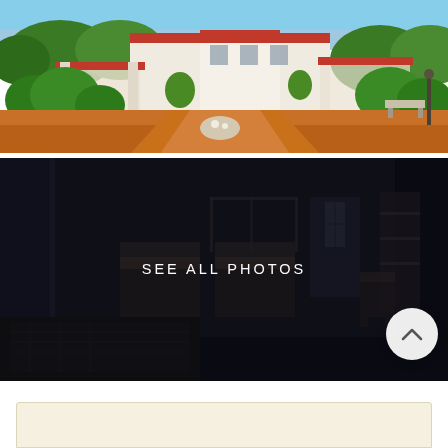[Figure (photo): Exterior photo of a white colonial-style building with red roof accents, surrounded by green trees and shrubs, with a red clay/brick driveway. Blue sky visible in background.]
[Figure (photo): Dark interior photo of a bedroom with beds and furniture, overlaid with semi-transparent dark filter. White text 'SEE ALL PHOTOS' centered over the image.]
SEE ALL PHOTOS